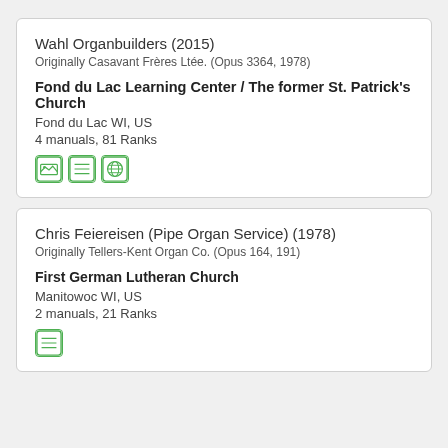Wahl Organbuilders (2015)
Originally Casavant Frères Ltée. (Opus 3364, 1978)
Fond du Lac Learning Center / The former St. Patrick's Church
Fond du Lac WI, US
4 manuals, 81 Ranks
[Figure (infographic): Three green icon buttons: image/photo icon, list icon, and globe/web icon]
Chris Feiereisen (Pipe Organ Service) (1978)
Originally Tellers-Kent Organ Co. (Opus 164, 191)
First German Lutheran Church
Manitowoc WI, US
2 manuals, 21 Ranks
[Figure (infographic): One green icon button: list icon]